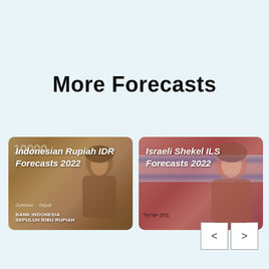More Forecasts
[Figure (photo): Indonesian Rupiah IDR banknote card thumbnail with portrait, showing text 'Indonesian Rupiah IDR Forecasts 2022' and 'BANK INDONESIA SEPULUH RIBU RUPIAH']
[Figure (photo): Israeli Shekel ILS banknote card thumbnail with portrait and Israeli flag, showing text 'Israeli Shekel ILS Forecasts 2022']